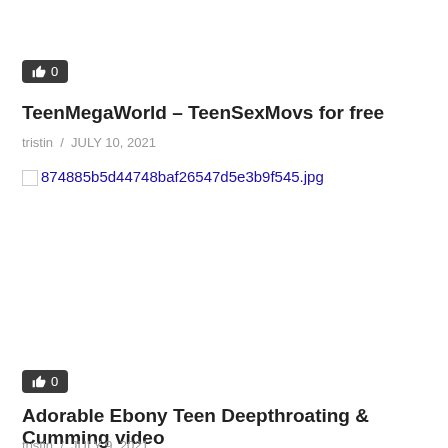[Figure (other): Like/thumbs-up badge showing count 0]
TeenMegaWorld – TeenSexMovs for free
tristin / JULY 10, 2021
[Figure (photo): Broken image placeholder with filename 874885b5d44748baf26547d5e3b9f545.jpg]
[Figure (other): Like/thumbs-up badge showing count 0]
Adorable Ebony Teen Deepthroating & Cumming video
tristin / JULY 9, 2021